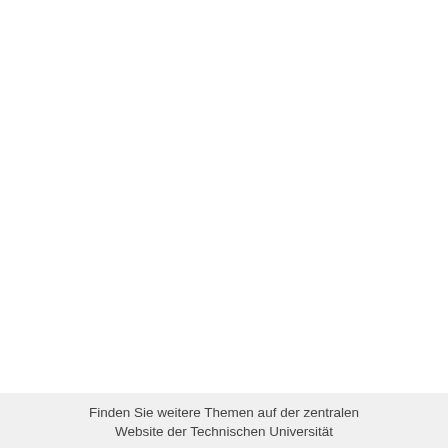Finden Sie weitere Themen auf der zentralen Website der Technischen Universität